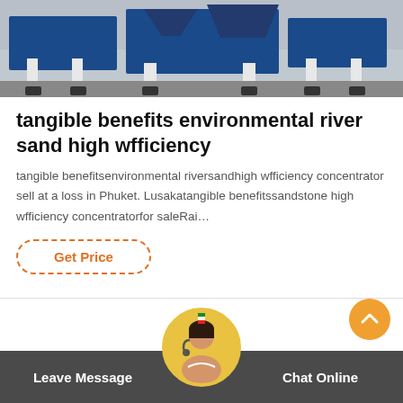[Figure (photo): Industrial equipment photo showing a machine with blue metal components and white structural supports on a concrete floor.]
tangible benefits environmental river sand high wfficiency
tangible benefitsenvironmental riversandhigh wfficiency concentrator sell at a loss in Phuket. Lusakatangible benefitssandstone high wfficiency concentratorfor saleRai…
Get Price
[Figure (photo): Customer service representative avatar with headset inside a gold circular frame, used as a chat/contact widget.]
Leave Message   Chat Online